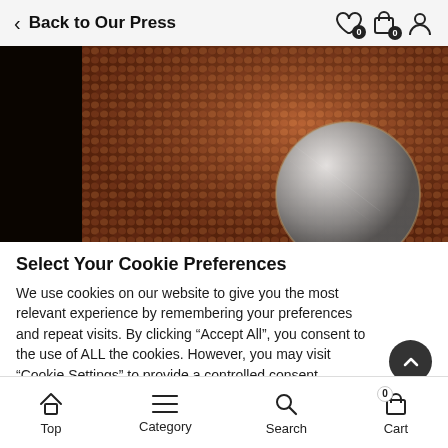Back to Our Press
[Figure (photo): Close-up macro photo of a woven copper/bronze mesh fabric with a metallic dome-shaped button or connector in the lower right corner, showing fine textile detail and a shiny metallic circular element.]
Select Your Cookie Preferences
We use cookies on our website to give you the most relevant experience by remembering your preferences and repeat visits. By clicking "Accept All", you consent to the use of ALL the cookies. However, you may visit "Cookie Settings" to provide a controlled consent.
Top  Category  Search  Cart